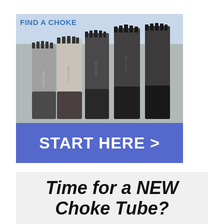[Figure (photo): Photo of five shotgun choke tubes standing upright side by side, ranging from silver/grey to dark black colored, with threaded bases and serrated tops. Above the photo is a light blue banner with 'FIND A CHOKE' in blue bold text. Below the photo is a blue button bar with 'START HERE >' in large white bold text.]
Time for a NEW Choke Tube?